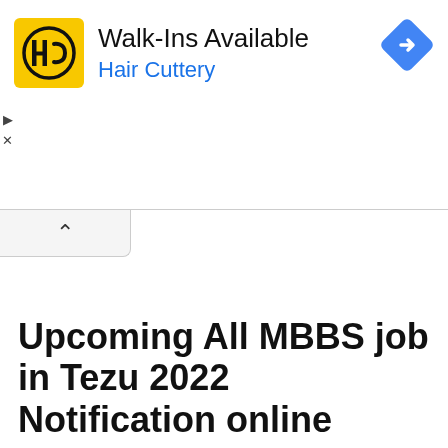[Figure (screenshot): Hair Cuttery advertisement banner with yellow HC logo, headline 'Walk-Ins Available', subline 'Hair Cuttery' in blue, and a blue navigation diamond icon on the right]
Upcoming All MBBS job in Tezu 2022 Notification online